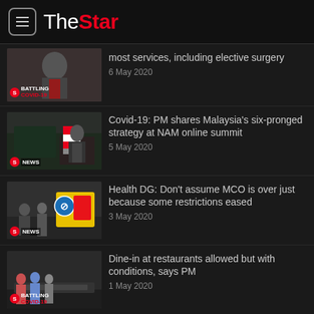[Figure (logo): The Star newspaper logo with hamburger menu icon]
most services, including elective surgery — 6 May 2020
Covid-19: PM shares Malaysia's six-pronged strategy at NAM online summit — 5 May 2020
Health DG: Don't assume MCO is over just because some restrictions eased — 3 May 2020
Dine-in at restaurants allowed but with conditions, says PM — 1 May 2020
PM: Almost all economic sectors, business activities can resume ops under conditional MCO